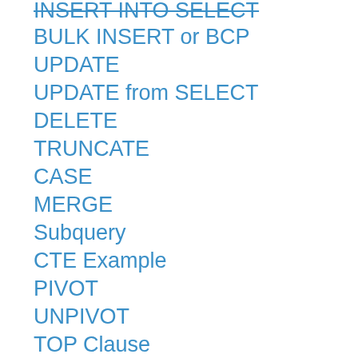INSERT INTO SELECT
BULK INSERT or BCP
UPDATE
UPDATE from SELECT
DELETE
TRUNCATE
CASE
MERGE
Subquery
CTE Example
PIVOT
UNPIVOT
TOP Clause
WHERE